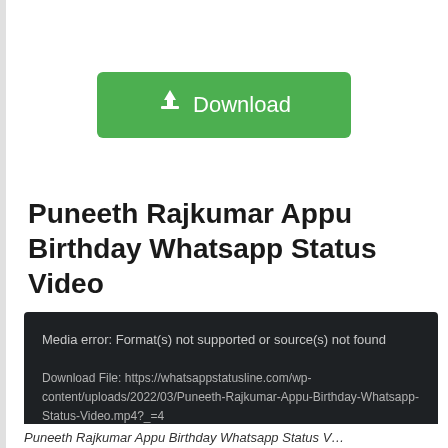[Figure (other): Green Download button with download icon]
Puneeth Rajkumar Appu Birthday Whatsapp Status Video
[Figure (screenshot): Dark video player showing media error: Format(s) not supported or source(s) not found. Download File: https://whatsappstatusline.com/wp-content/uploads/2022/03/Puneeth-Rajkumar-Appu-Birthday-Whatsapp-Status-Video.mp4?_=4]
Puneeth Rajkumar Appu Birthday Whatsapp Status V…